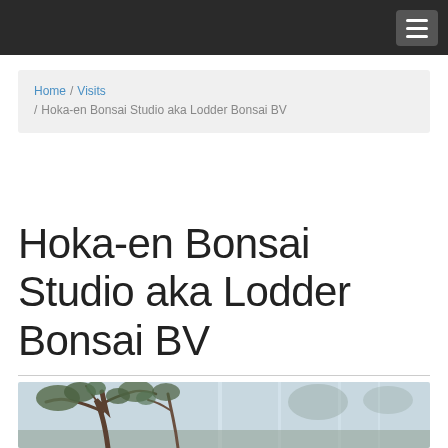Navigation bar with hamburger menu
Home / Visits / Hoka-en Bonsai Studio aka Lodder Bonsai BV
Hoka-en Bonsai Studio aka Lodder Bonsai BV
[Figure (photo): Photograph of a bonsai tree in a greenhouse/studio setting, showing a gnarled bonsai with graceful branches against a bright background]